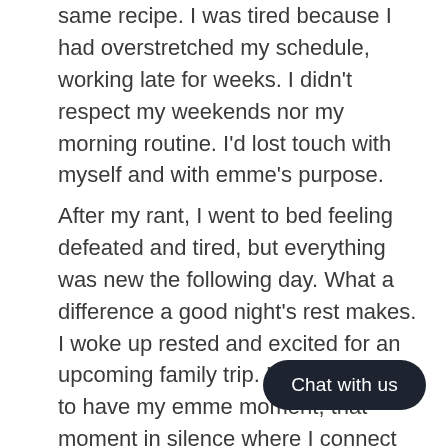same recipe. I was tired because I had overstretched my schedule, working late for weeks. I didn't respect my weekends nor my morning routine. I'd lost touch with myself and with emme's purpose.
After my rant, I went to bed feeling defeated and tired, but everything was new the following day. What a difference a good night's rest makes. I woke up rested and excited for an upcoming family trip. I took my time to have my emme moment, that moment in silence where I connect with myself by putting on a fresh pair of earrings. Even though I was asham[ed of my] behavior, my kids were at the ot[her side of my] bedroom door waiting for me as n[othing had] happened.